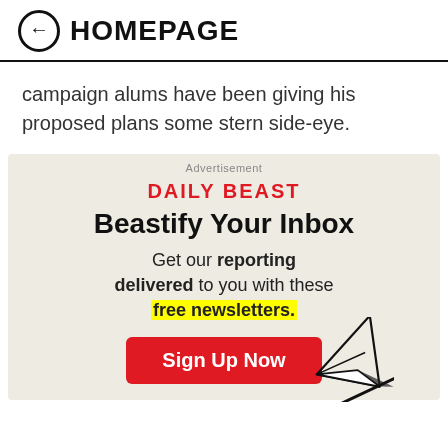← HOMEPAGE
campaign alums have been giving his proposed plans some stern side-eye.
[Figure (infographic): Daily Beast newsletter advertisement with 'Beastify Your Inbox' headline, paper plane illustration, and Sign Up Now button]
Advertisement